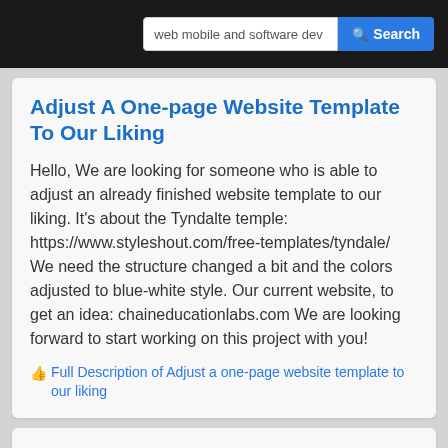web mobile and software dev  Search
Adjust A One-page Website Template To Our Liking
Hello, We are looking for someone who is able to adjust an already finished website template to our liking. It's about the Tyndalte temple: https://www.styleshout.com/free-templates/tyndale/ We need the structure changed a bit and the colors adjusted to blue-white style. Our current website, to get an idea: chaineducationlabs.com We are looking forward to start working on this project with you!
Full Description of Adjust a one-page website template to our liking
Admin Manager For E-commerce Store "